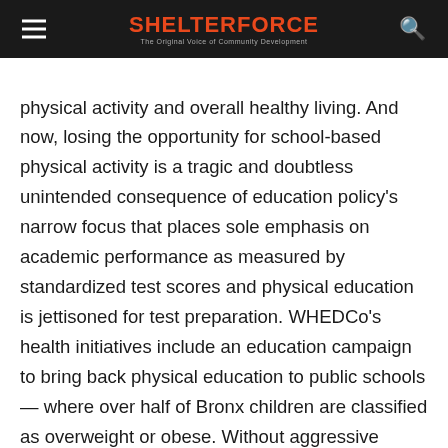SHELTERFORCE — The Original Voice of Community Development
physical activity and overall healthy living. And now, losing the opportunity for school-based physical activity is a tragic and doubtless unintended consequence of education policy's narrow focus that places sole emphasis on academic performance as measured by standardized test scores and physical education is jettisoned for test preparation. WHEDCo's health initiatives include an education campaign to bring back physical education to public schools — where over half of Bronx children are classified as overweight or obese. Without aggressive health interventions now, these children will become part of what is expected to be a doubling of the number of Americans with Type 2 Diabetes, and a consequent tripling of associated health care costs, both within the next 25 years! No small uptick in test scores can justify the larger human and societal costs of sedentary